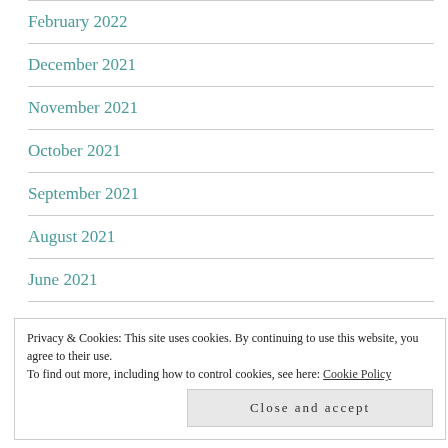February 2022
December 2021
November 2021
October 2021
September 2021
August 2021
June 2021
Privacy & Cookies: This site uses cookies. By continuing to use this website, you agree to their use.
To find out more, including how to control cookies, see here: Cookie Policy
Close and accept